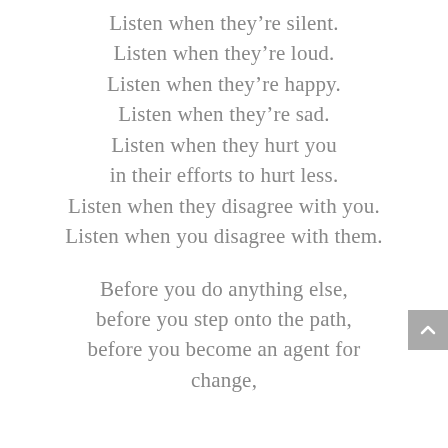Listen when they’re silent.
Listen when they’re loud.
Listen when they’re happy.
Listen when they’re sad.
Listen when they hurt you
in their efforts to hurt less.
Listen when they disagree with you.
Listen when you disagree with them.
Before you do anything else,
before you step onto the path,
before you become an agent for
change,